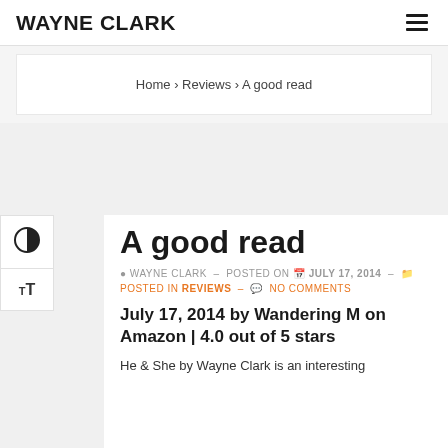WAYNE CLARK
Home › Reviews › A good read
A good read
WAYNE CLARK – POSTED ON JULY 17, 2014 –
POSTED IN REVIEWS – NO COMMENTS
July 17, 2014 by Wandering M on Amazon | 4.0 out of 5 stars
He & She by Wayne Clark is an interesting